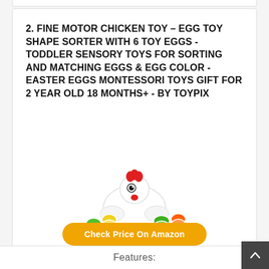2. FINE MOTOR CHICKEN TOY – EGG TOY SHAPE SORTER WITH 6 TOY EGGS - TODDLER SENSORY TOYS FOR SORTING AND MATCHING EGGS & EGG COLOR - EASTER EGGS MONTESSORI TOYS GIFT FOR 2 YEAR OLD 18 MONTHS+ - BY TOYPIX
[Figure (photo): A white chicken-shaped toy with a red comb sitting on top of multiple colorful matching egg halves in various colors including red, orange, yellow, green, blue, and purple.]
Check Price On Amazon
Features: